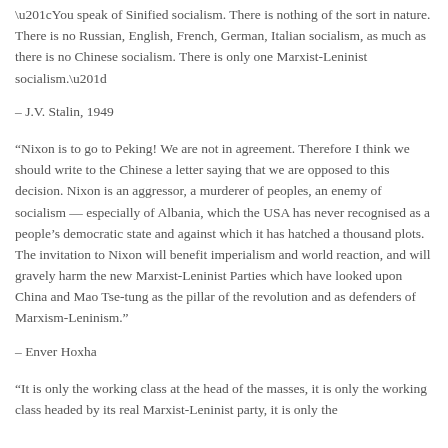“You speak of Sinified socialism. There is nothing of the sort in nature. There is no Russian, English, French, German, Italian socialism, as much as there is no Chinese socialism. There is only one Marxist-Leninist socialism.”
– J.V. Stalin, 1949
“Nixon is to go to Peking! We are not in agreement. Therefore I think we should write to the Chinese a letter saying that we are opposed to this decision. Nixon is an aggressor, a murderer of peoples, an enemy of socialism — especially of Albania, which the USA has never recognised as a people’s democratic state and against which it has hatched a thousand plots. The invitation to Nixon will benefit imperialism and world reaction, and will gravely harm the new Marxist-Leninist Parties which have looked upon China and Mao Tse-tung as the pillar of the revolution and as defenders of Marxism-Leninism.”
– Enver Hoxha
“It is only the working class at the head of the masses, it is only the working class headed by its real Marxist-Leninist party, it is only the